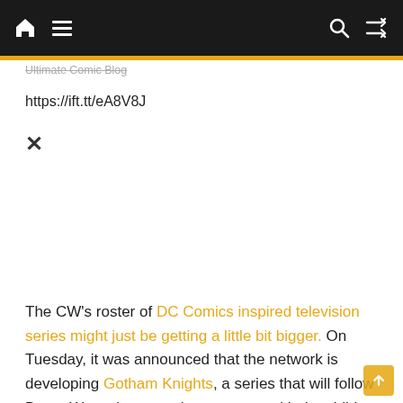Ultimate Comic Blog — navigation bar with home, menu, search, and shuffle icons
Ultimate Comic Blog
https://ift.tt/eA8V8J
×
The CW's roster of DC Comics inspired television series might just be getting a little bit bigger. On Tuesday, it was announced that the network is developing Gotham Knights, a series that will follow Bruce Wayne's son as he teams up with the children